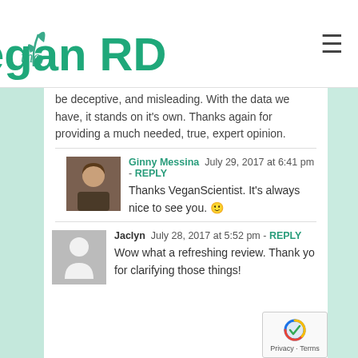[Figure (logo): The Vegan RD website logo with teal/green text and leaf icon]
be deceptive, and misleading. With the data we have, it stands on it's own. Thanks again for providing a much needed, true, expert opinion.
Ginny Messina  July 29, 2017 at 6:41 pm - REPLY
Thanks VeganScientist. It's always nice to see you. 🙂
Jaclyn  July 28, 2017 at 5:52 pm - REPLY
Wow what a refreshing review. Thank you for clarifying those things!